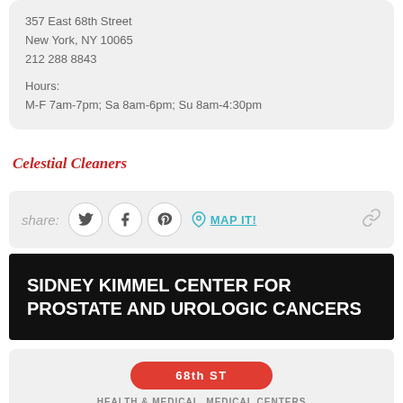357 East 68th Street
New York, NY 10065
212 288 8843

Hours:
M-F 7am-7pm; Sa 8am-6pm; Su 8am-4:30pm
Celestial Cleaners
[Figure (infographic): Share bar with Twitter, Facebook, Pinterest icons and MAP IT! link and chain link icon]
SIDNEY KIMMEL CENTER FOR PROSTATE AND UROLOGIC CANCERS
[Figure (infographic): Map section showing 68th ST label button and HEALTH & MEDICAL - MEDICAL CENTERS text]
HEALTH & MEDICAL   MEDICAL CENTERS